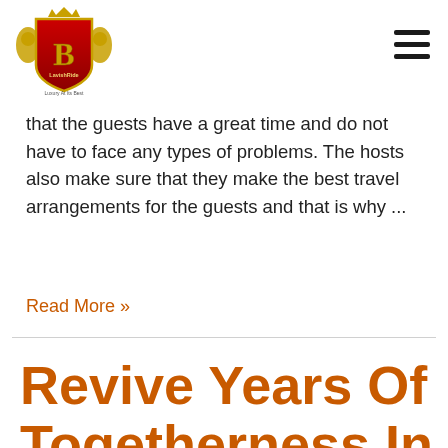LavishRide logo and navigation
that the guests have a great time and do not have to face any types of problems. The hosts also make sure that they make the best travel arrangements for the guests and that is why ...
Read More »
Revive Years Of Togetherness In